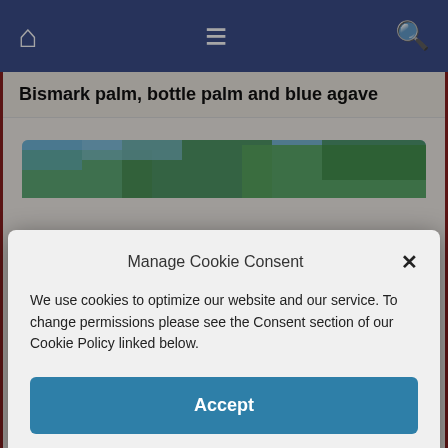Navigation bar with home, menu, and search icons
Bismark palm, bottle palm and blue agave
[Figure (photo): Partial view of palm trees with blue sky, cropped by modal overlay]
Manage Cookie Consent
We use cookies to optimize our website and our service. To change permissions please see the Consent section of our Cookie Policy linked below.
Accept
[Figure (photo): Garden scene with bismark palm, bottle palm and lush tropical greenery on grass]